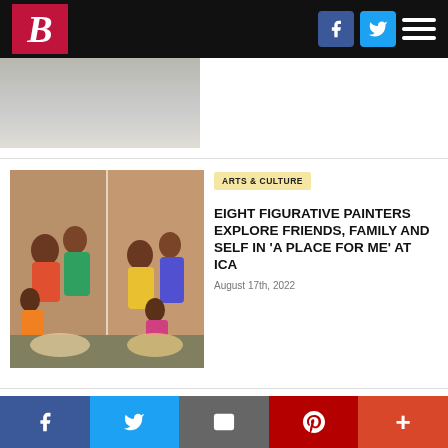B [logo] — navigation header with Facebook and Twitter buttons and hamburger menu
[Figure (photo): Partial top image of a street or parking scene, cropped]
[Figure (photo): Colorful figurative painting showing a group of people in bright clothing, displayed as a diptych — artwork for 'A Place for Me' at ICA]
ARTS & CULTURE
EIGHT FIGURATIVE PAINTERS EXPLORE FRIENDS, FAMILY AND SELF IN 'A PLACE FOR ME' AT ICA
August 17th, 2022
[Figure (photo): Partial bottom photo showing green foliage/trees — bottom article image, partially visible]
LOCAL NEWS
Social share bar: Facebook, Twitter, Email, Pinterest, More